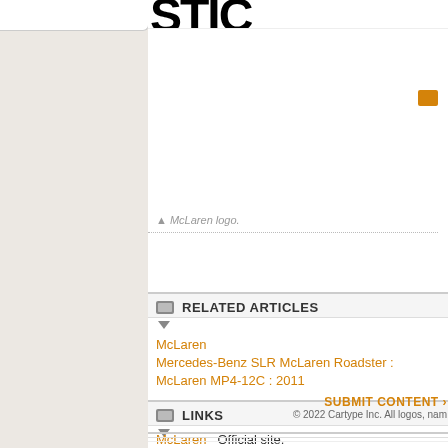[Figure (logo): McLaren logo partial text in large bold black font at top of right panel]
▲ McLaren logo.
RELATED ARTICLES
McLaren
Mercedes-Benz SLR McLaren Roadster :
McLaren MP4-12C : 2011
LINKS
McLaren   Official site.
SUBMIT CONTENT
© 2022 Cartype Inc. All logos, nam